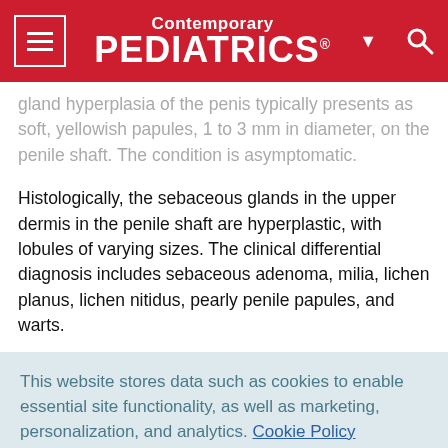Contemporary PEDIATRICS
gland hyperplasia of the penis typically presents as soft, yellowish papules, 1 to 3 mm in diameter, on the penile shaft. The condition is asymptomatic.
Histologically, the sebaceous glands in the upper dermis in the penile shaft are hyperplastic, with lobules of varying sizes. The clinical differential diagnosis includes sebaceous adenoma, milia, lichen planus, lichen nitidus, pearly penile papules, and warts.
This website stores data such as cookies to enable essential site functionality, as well as marketing, personalization, and analytics. Cookie Policy
Accept
Deny